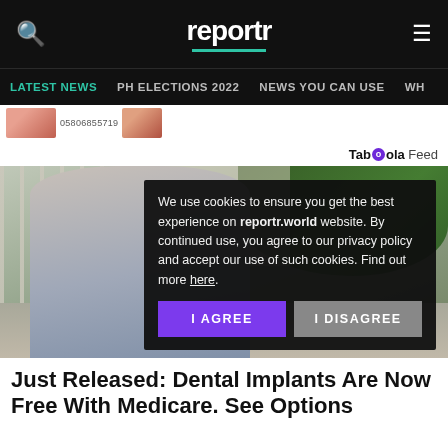reportr
LATEST NEWS  PH ELECTIONS 2022  NEWS YOU CAN USE  WH
[Figure (screenshot): Thumbnail strip with blurred person image and label 05806855719]
Taboola Feed
[Figure (photo): Outdoor photo of a person in a grey outfit standing near a fence, with trees visible in the background. A cookie consent dialog overlays the right portion of the image with text: 'We use cookies to ensure you get the best experience on reportr.world website. By continued use, you agree to our privacy policy and accept our use of such cookies. Find out more here.' with I AGREE and I DISAGREE buttons.]
Just Released: Dental Implants Are Now Free With Medicare. See Options